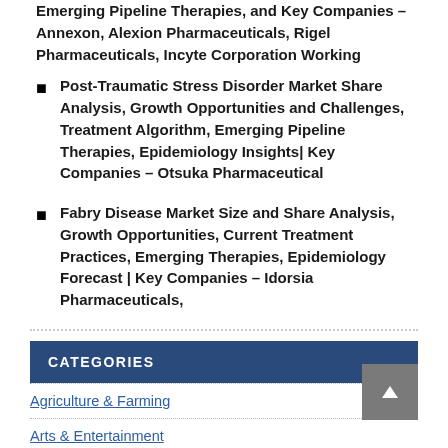Emerging Pipeline Therapies, and Key Companies – Annexon, Alexion Pharmaceuticals, Rigel Pharmaceuticals, Incyte Corporation Working
Post-Traumatic Stress Disorder Market Share Analysis, Growth Opportunities and Challenges, Treatment Algorithm, Emerging Pipeline Therapies, Epidemiology Insights| Key Companies – Otsuka Pharmaceutical
Fabry Disease Market Size and Share Analysis, Growth Opportunities, Current Treatment Practices, Emerging Therapies, Epidemiology Forecast | Key Companies – Idorsia Pharmaceuticals,
CATEGORIES
Agriculture & Farming
Arts & Entertainment
Business
Celebrity
Education